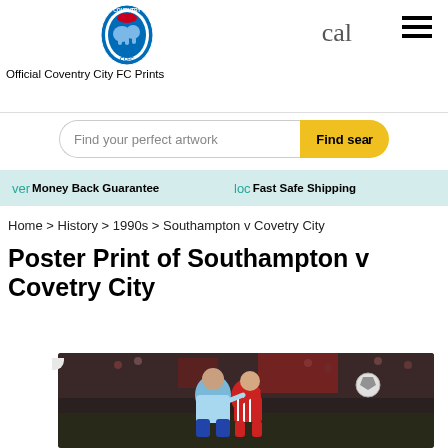Official Coventry City FC Prints
Find your perfect artwork
Find search
ver Money Back Guarantee   loc Fast Safe Shipping
Home > History > 1990s > Southampton v Covetry City
Poster Print of Southampton v Covetry City
[Figure (photo): Football match action photo showing players from Southampton and Coventry City challenging for the ball, with a crowd in the background. One player in light blue (Coventry) and one in red and white stripes (Southampton).]